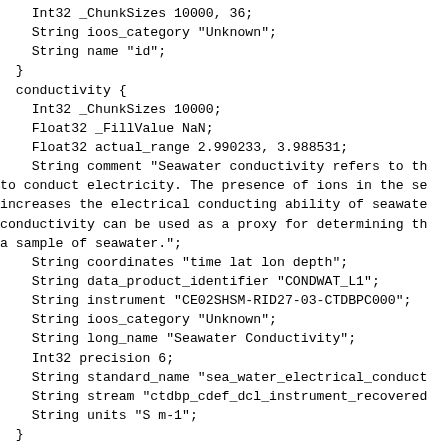Int32 _ChunkSizes 10000, 36;
    String ioos_category "Unknown";
    String name "id";
  }
  conductivity {
    Int32 _ChunkSizes 10000;
    Float32 _FillValue NaN;
    Float32 actual_range 2.990233, 3.988531;
    String comment "Seawater conductivity refers to th
to conduct electricity. The presence of ions in the se
increases the electrical conducting ability of seawate
conductivity can be used as a proxy for determining th
a sample of seawater.";
    String coordinates "time lat lon depth";
    String data_product_identifier "CONDWAT_L1";
    String instrument "CE02SHSM-RID27-03-CTDBPC000";
    String ioos_category "Unknown";
    String long_name "Seawater Conductivity";
    Int32 precision 6;
    String standard_name "sea_water_electrical_conduct
    String stream "ctdbp_cdef_dcl_instrument_recovered
    String units "S m-1";
  }
  depth {
    Int32 _ChunkSizes 10000;
    String _CoordinateAxisType "Height":